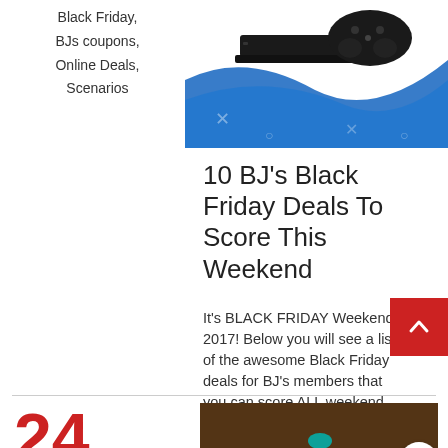Black Friday, BJs coupons, Online Deals, Scenarios
[Figure (photo): PlayStation 4 console and controller on blue and white background]
10 BJ's Black Friday Deals To Score This Weekend
It's BLACK FRIDAY Weekend 2017! Below you will see a list of the awesome Black Friday deals for BJ's members that you can score ALL weekend. These deals below ...
24
November,
[Figure (photo): Blurred image of items on a surface with a teal/blue small object visible]